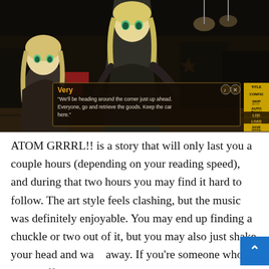[Figure (screenshot): Screenshot of visual novel game ATOM GRRRL!! showing two anime girl characters with blonde hair and green eyes against a dark night city background. A dialogue box shows the character 'Very' saying: 'We'll be heading around the corner just up ahead. Everyone, go and retrieve the goods. Keep the car here.' Game menu buttons (TITLE, CONFIG, SKIP, AUTO, LOG, LOAD, SAVE, QLOAD, QSAVE) appear on the right side.]
ATOM GRRRL!! is a story that will only last you a couple hours (depending on your reading speed), and during that two hours you may find it hard to follow. The art style feels clashing, but the music was definitely enjoyable. You may end up finding a chuckle or two out of it, but you may also just shake your head and walk away. If you're someone who is easily offended then I'd